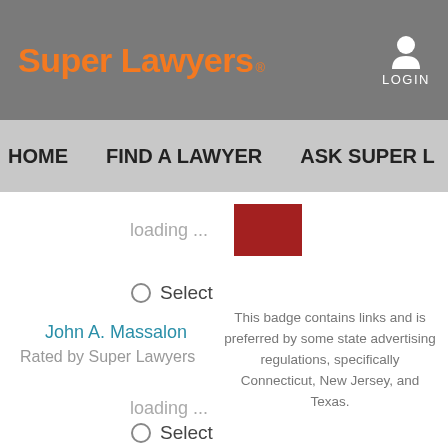Super Lawyers
LOGIN
HOME   FIND A LAWYER   ASK SUPER L
loading ...
Select
John A. Massalon
Rated by Super Lawyers
This badge contains links and is preferred by some state advertising regulations, specifically Connecticut, New Jersey, and Texas.
loading ...
Select